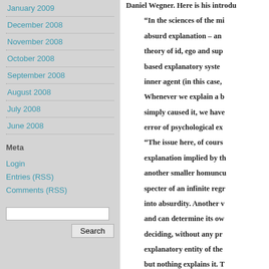January 2009
December 2008
November 2008
October 2008
September 2008
August 2008
July 2008
June 2008
Meta
Login
Entries (RSS)
Comments (RSS)
Daniel Wegner. Here is his introdu… “In the sciences of the mi… absurd explanation – an… theory of id, ego and sup… based explanatory syste… inner agent (in this case,… Whenever we explain a b… simply caused it, we have… error of psychological ex… “The issue here, of cours… explanation implied by th… another smaller homuncu… specter of an infinite regr… into absurdity. Another v… and can determine its ow… deciding, without any pr… explanatory entity of the… but nothing explains it. T… an event. A first-order ex… still may not explain any… going to do, we cannot p…